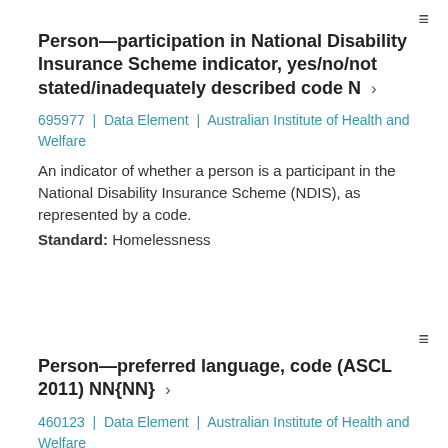≡
Person—participation in National Disability Insurance Scheme indicator, yes/no/not stated/inadequately described code N ›
695977 | Data Element | Australian Institute of Health and Welfare
An indicator of whether a person is a participant in the National Disability Insurance Scheme (NDIS), as represented by a code.
Standard: Homelessness
≡
Person—preferred language, code (ASCL 2011) NN{NN} ›
460123 | Data Element | Australian Institute of Health and Welfare
The language (including sign